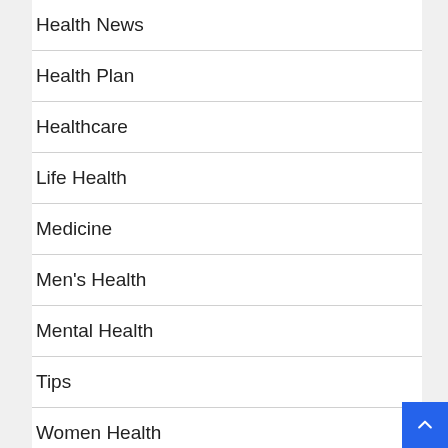Health News
Health Plan
Healthcare
Life Health
Medicine
Men's Health
Mental Health
Tips
Women Health